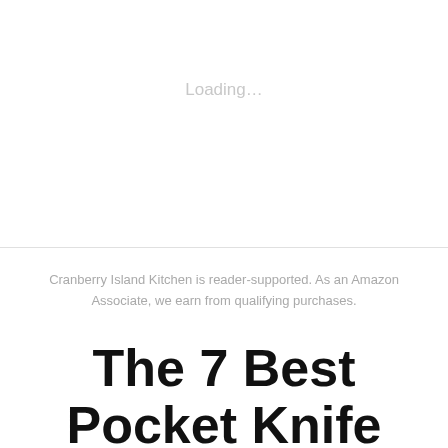[Figure (other): Image placeholder showing 'Loading…' text in light gray on white background]
Cranberry Island Kitchen is reader-supported. As an Amazon Associate, we earn from qualifying purchases.
The 7 Best Pocket Knife Sharpeners